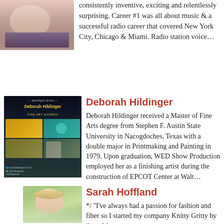[Figure (photo): Partial photo of a person, cropped at top of page]
consistently inventive, exciting and relentlessly surprising. Career #1 was all about music & a successful radio career that covered New York City, Chicago & Miami. Radio station voice…
[Figure (photo): Spotlight Artist promotional image for Deborah Hildinger Fine Art Gourds, dark background with decorative gourd artwork and contact information]
Deborah Hildinger
Deborah Hildinger received a Master of Fine Arts degree from Stephen F. Austin State University in Nacogdoches, Texas with a double major in Printmaking and Painting in 1979. Upon graduation, WED Show Production employed her as a finishing artist during the construction of EPCOT Center at Walt…
[Figure (photo): Photo of Sarah Hoffland, a woman with blonde hair outdoors]
Sarah Hoffland
*/ "I've always had a passion for fashion and fiber so I started my company Knitty Gritty by Sara.  My